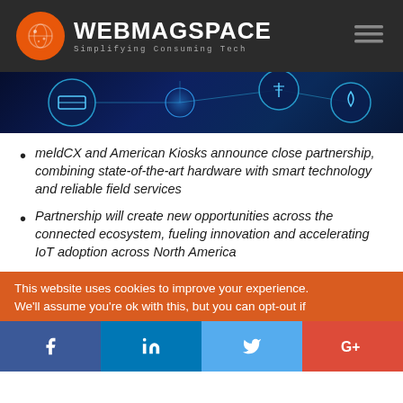WEBMAGSPACE — Simplifying Consuming Tech
[Figure (photo): Banner image showing IoT/technology icons on a dark blue glowing background with connected network symbols]
meldCX and American Kiosks announce close partnership, combining state-of-the-art hardware with smart technology and reliable field services
Partnership will create new opportunities across the connected ecosystem, fueling innovation and accelerating IoT adoption across North America
This website uses cookies to improve your experience. We'll assume you're ok with this, but you can opt-out if
Social share buttons: Facebook, LinkedIn, Twitter, Google+